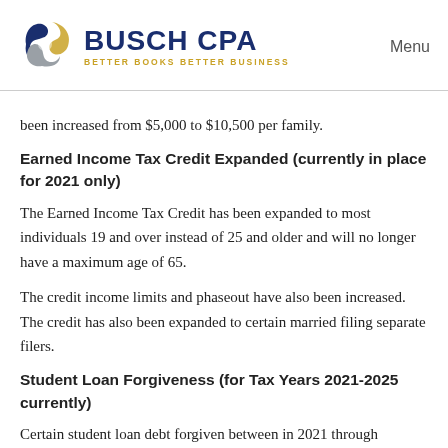[Figure (logo): Busch CPA logo with swirl emblem and text BUSCH CPA BETTER BOOKS BETTER BUSINESS]
Menu
been increased from $5,000 to $10,500 per family.
Earned Income Tax Credit Expanded (currently in place for 2021 only)
The Earned Income Tax Credit has been expanded to most individuals 19 and over instead of 25 and older and will no longer have a maximum age of 65.
The credit income limits and phaseout have also been increased. The credit has also been expanded to certain married filing separate filers.
Student Loan Forgiveness (for Tax Years 2021-2025 currently)
Certain student loan debt forgiven between in 2021 through